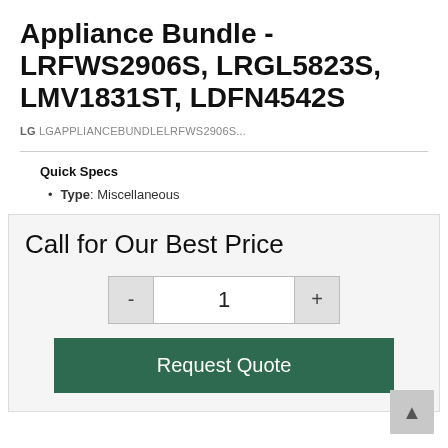Appliance Bundle - LRFWS2906S, LRGL5823S, LMV1831ST, LDFN4542S
LG LGAPPLIANCEBUNDLELRFWS2906S...
Quick Specs
Type: Miscellaneous
Call for Our Best Price
1
Request Quote